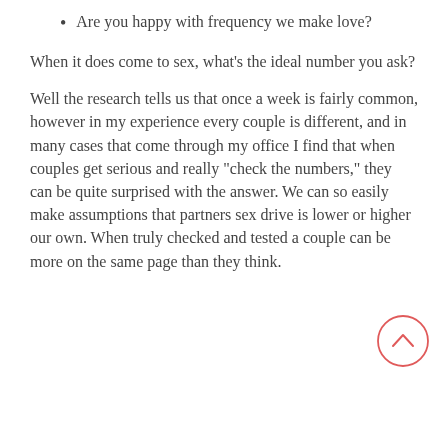Are you happy with frequency we make love?
When it does come to sex, what's the ideal number you ask?
Well the research tells us that once a week is fairly common, however in my experience every couple is different, and in many cases that come through my office I find that when couples get serious and really "check the numbers," they can be quite surprised with the answer. We can so easily make assumptions that partners sex drive is lower or higher our own. When truly checked and tested a couple can be more on the same page than they think.